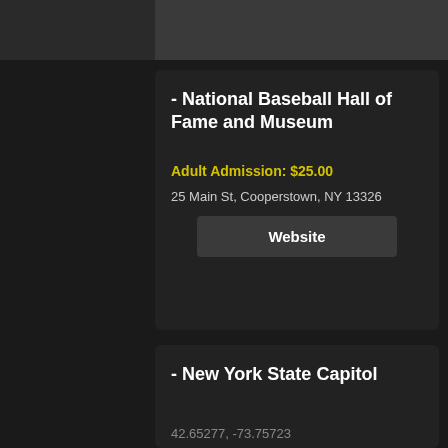[Figure (photo): Partial image strip at top of page, dark background]
- National Baseball Hall of Fame and Museum
Adult Admission: $25.00
25 Main St, Cooperstown, NY 13326
Website
- New York State Capitol
42.65277, -73.75723
Website